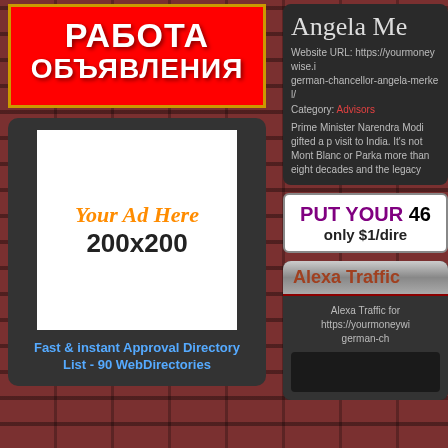[Figure (infographic): Red banner with Cyrillic text РАБОТА ОБЪЯВЛЕНИЯ in white bold letters on red background with gold border]
[Figure (infographic): Ad placeholder box 200x200 with orange italic 'Your Ad Here' text and bold '200x200' below, on dark background with blue link text 'Fast & instant Approval Directory List - 90 WebDirectories']
Angela Me
Website URL: https://yourmoneywise.i german-chancellor-angela-merkel/
Category: Advisors
Prime Minister Narendra Modi gifted a p visit to India. It's not Mont Blanc or Parka more than eight decades and the legacy
[Figure (infographic): White box with purple bold text 'PUT YOUR 46' and dark text 'only $1/dire']
Alexa Traffic
Alexa Traffic for https://yourmoneywi german-ch